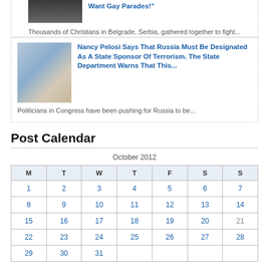Want Gay Parades!"
Thousands of Christians in Belgrade, Serbia, gathered together to fight...
Nancy Pelosi Says That Russia Must Be Designated As A State Sponsor Of Terrorism. The State Department Warns That This...
Politicians in Congress have been pushing for Russia to be...
Post Calendar
| M | T | W | T | F | S | S |
| --- | --- | --- | --- | --- | --- | --- |
| 1 | 2 | 3 | 4 | 5 | 6 | 7 |
| 8 | 9 | 10 | 11 | 12 | 13 | 14 |
| 15 | 16 | 17 | 18 | 19 | 20 | 21 |
| 22 | 23 | 24 | 25 | 26 | 27 | 28 |
| 29 | 30 | 31 |  |  |  |  |